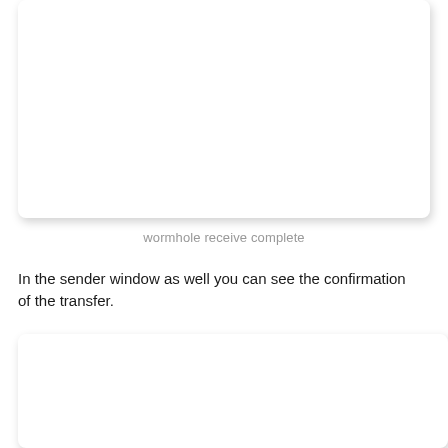[Figure (screenshot): Screenshot of a receiver window showing wormhole receive complete state — white content area with rounded corners and drop shadow]
wormhole receive complete
In the sender window as well you can see the confirmation of the transfer.
[Figure (screenshot): Screenshot of a sender window showing transfer confirmation — white content area with rounded corners and drop shadow, partially visible at bottom of page]